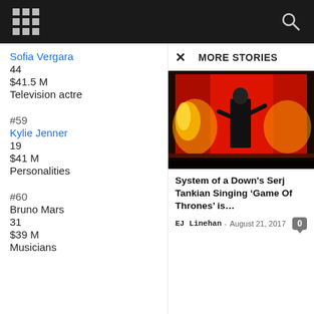Navigation bar with grid icon and search icon
Sofia Vergara
44
$41.5 M
Television actre
#59
Kylie Jenner
19
$41 M
Personalities
#60
Bruno Mars
31
$39 M
Musicians
MORE STORIES
[Figure (photo): Concert photo showing performer on stage with large red screens displaying golden lion imagery, likely Game of Thrones themed]
System of a Down's Serj Tankian Singing ‘Game Of Thrones’ is…
EJ Linehan - August 21, 2017